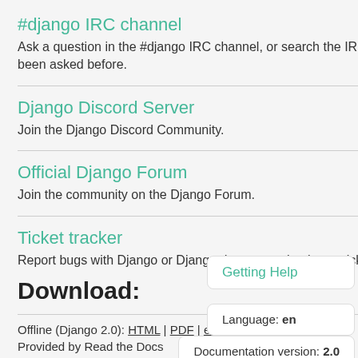#django IRC channel
Ask a question in the #django IRC channel, or search the IRC logs to see if it's been asked before.
Django Discord Server
Join the Django Discord Community.
Official Django Forum
Join the community on the Django Forum.
Ticket tracker
Report bugs with Django or Django documentation in our ticket tracker.
Download:
Offline (Django 2.0): HTML | PDF | ePub
Provided by Read the Docs
Getting Help
Language: en
Documentation version: 2.0